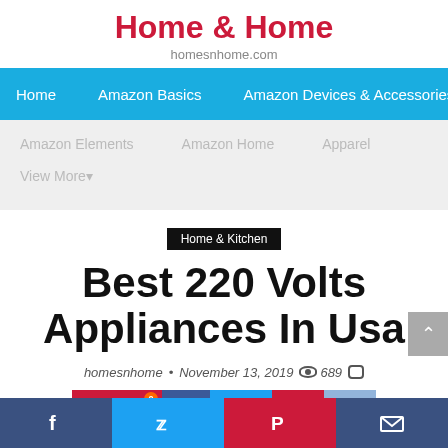Home & Home
homesnhome.com
Home | Amazon Basics | Amazon Devices & Accessories
Amazon Elements  Amazon Home  Apparel
View More
Home & Kitchen
Best 220 Volts Appliances In Usa
homesnhome • November 13, 2019  689
[Figure (other): Social share buttons: Save, Facebook, Twitter, Pinterest, Mail; and bottom sticky bar with Facebook, Twitter, Pinterest, Mail icons]